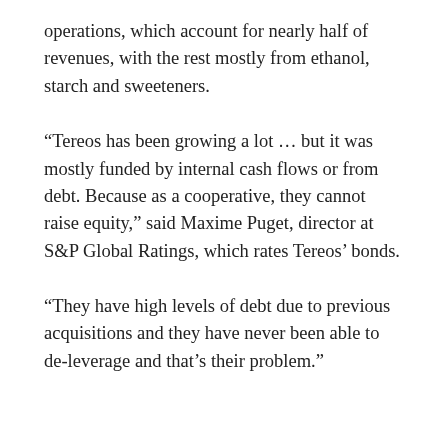operations, which account for nearly half of revenues, with the rest mostly from ethanol, starch and sweeteners.
“Tereos has been growing a lot … but it was mostly funded by internal cash flows or from debt. Because as a cooperative, they cannot raise equity,” said Maxime Puget, director at S&P Global Ratings, which rates Tereos’ bonds.
“They have high levels of debt due to previous acquisitions and they have never been able to de-leverage and that’s their problem.”